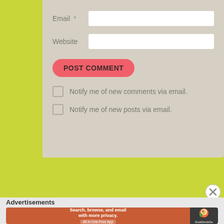Email *
Website
POST COMMENT
Notify me of new comments via email.
Notify me of new posts via email.
Advertisements
[Figure (screenshot): DuckDuckGo advertisement banner: orange left side with text 'Search, browse, and email with more privacy. All in One Free App', dark right side with DuckDuckGo logo and duck icon]